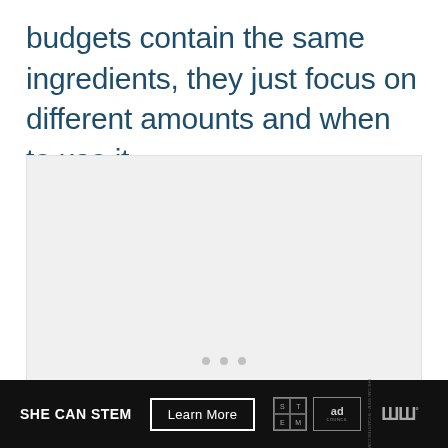budgets contain the same ingredients, they just focus on different amounts and when to use it.
[Figure (other): A light gray placeholder image box with three small gray dots at the bottom center, indicating a slideshow or carousel.]
SHE CAN STEM  Learn More  [STEM logo] [Ad Council logo] [Waves logo]